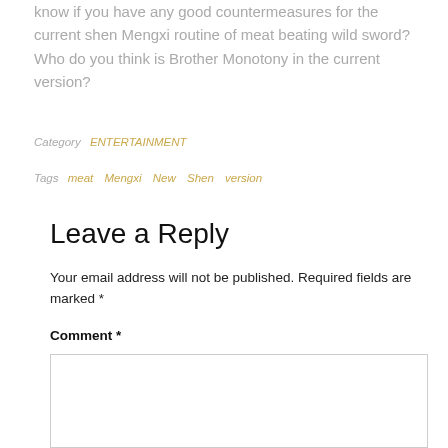know if you have any good countermeasures for the current shen Mengxi routine of meat beating wild sword? Who do you think is Brother Monotony in the current version?
Category   ENTERTAINMENT
Tags   meat   Mengxi   New   Shen   version
Leave a Reply
Your email address will not be published. Required fields are marked *
Comment *